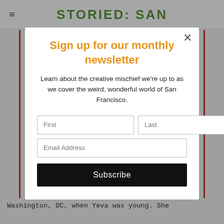STORIED: SAN
[Figure (screenshot): Newsletter signup modal overlay on a website. Modal contains title 'Sign up for our monthly newsletter', body text, First/Last name input fields, Email Address input field, and a Subscribe button. Background shows partial site header with hamburger menu and green site title 'STORIED: SAN', red vertical border lines, and bottom text 'Washington, DC, when Yeva was young. She'.]
Sign up for our monthly newsletter
Learn about the creative mischief we're up to as we cover the weird, wonderful world of San Francisco.
Washington, DC, when Yeva was young. She